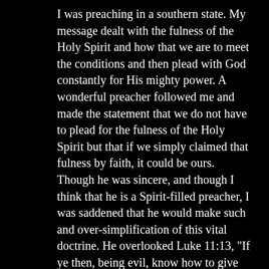I was preaching in a southern state. My message dealt with the fulness of the Holy Spirit and how that we are to meet the conditions and then plead with God constantly for His mighty power. A wonderful preacher followed me and made the statement that we do not have to plead for the fulness of the Holy Spirit but that if we simply claimed that fulness by faith, it could be ours. Though he was sincere, and though I think that he is a Spirit-filled preacher, I was saddened that he would make such and over-simplification of this vital doctrine. He overlooked Luke 11:13, "If ye then, being evil, know how to give good gifts unto your children: how much more shall your heavenly Father give the Holy Spirit to them that ask Him?" In this verse the word "ask" is in the linear or durative which means we are to ask and ask and ask and ask. What a dangerous thing it is to misunderstand the fact that God insists that we pay the price for the fulness of His power, the kind of price that George